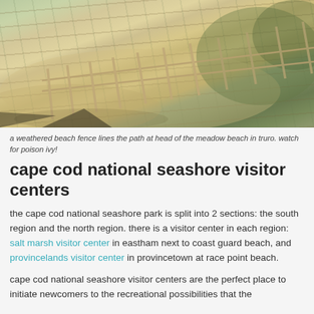[Figure (photo): A weathered wooden beach fence lines a sandy path with beach grass and dunes at Head of the Meadow Beach in Truro.]
a weathered beach fence lines the path at head of the meadow beach in truro. watch for poison ivy!
cape cod national seashore visitor centers
the cape cod national seashore park is split into 2 sections: the south region and the north region. there is a visitor center in each region: salt marsh visitor center in eastham next to coast guard beach, and provincelands visitor center in provincetown at race point beach.
cape cod national seashore visitor centers are the perfect place to initiate newcomers to the recreational possibilities that the